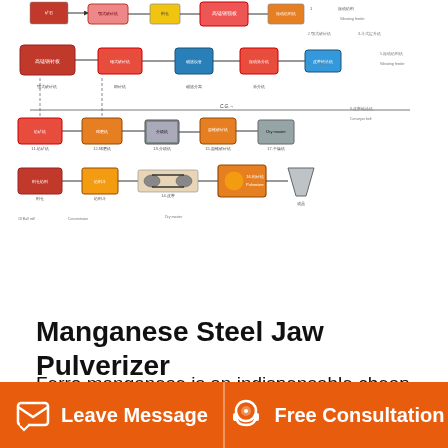[Figure (flowchart): Industrial process flowchart diagram showing ferro manganese production process with Chinese labels, connected equipment boxes including feeders, crushers, conveyors, and dryers with arrows indicating material flow.]
Manganese Steel Jaw Pulverizer
Ferro manganese is an indispensable cheap deoxidizer and desulfurizer in the steelmaking industry. MnS generated after desulfurization of ferro manganese can improve the cutting performance of castings. High carbon ferro manganese is used as a raw.
High Carbon Ferro Manganese Single Roll Crushers. High Carbon Ferro Manganese. Exporter of Medium Carbon.
Leave Message   Free Consultation